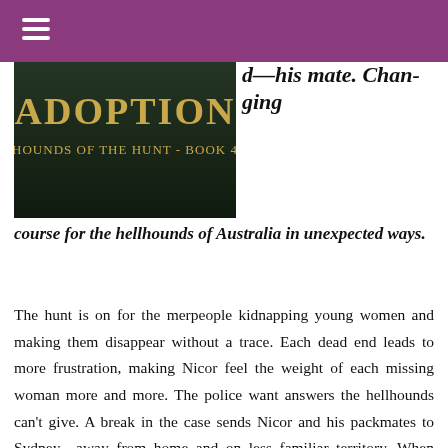≡
[Figure (illustration): Book cover image showing 'ADOPTION - HOUNDS OF THE HUNT - BOOK 4' with gold lettering on a dark background]
d—his mate. Changing course for the hellhounds of Australia in unexpected ways.
The hunt is on for the merpeople kidnapping young women and making them disappear without a trace. Each dead end leads to more frustration, making Nicor feel the weight of each missing woman more and more. The police want answers the hellhounds can't give. A break in the case sends Nicor and his packmates to Sydney—away from home and on less familiar territory. When Nicor and the other hellhounds think they have cornered their prey...